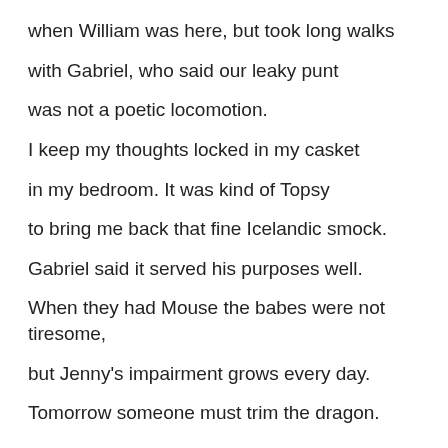when William was here, but took long walks
with Gabriel, who said our leaky punt
was not a poetic locomotion.
I keep my thoughts locked in my casket
in my bedroom. It was kind of Topsy
to bring me back that fine Icelandic smock.
Gabriel said it served his purposes well.
When they had Mouse the babes were not tiresome,
but Jenny's impairment grows every day.
Tomorrow someone must trim the dragon.